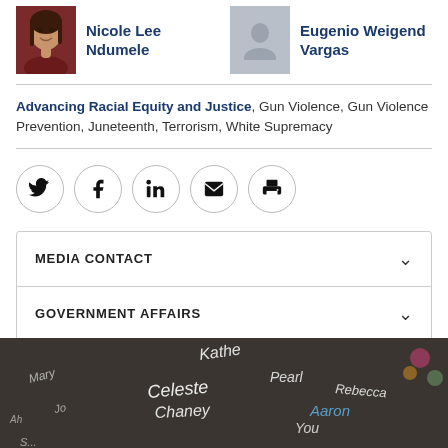Nicole Lee Ndumele
Eugenio Weigend Vargas
Advancing Racial Equity and Justice, Gun Violence, Gun Violence Prevention, Juneteenth, Terrorism, White Supremacy
[Figure (infographic): Social share icons: Twitter, Facebook, LinkedIn, Email, Print]
MEDIA CONTACT
GOVERNMENT AFFAIRS
[Figure (photo): Photo of pavement with chalk writings of names including Kathe, Pearl, Celeste Chaney, Aaron, Rebecca and others]